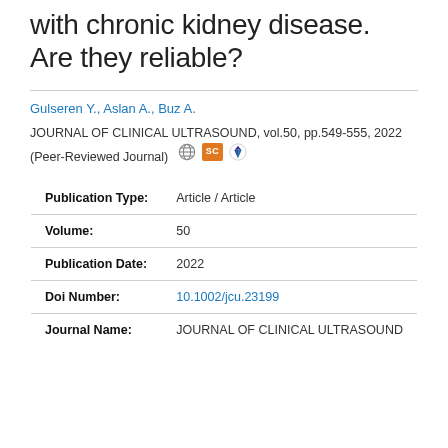with chronic kidney disease. Are they reliable?
Gulseren Y., Aslan A., Buz A.
JOURNAL OF CLINICAL ULTRASOUND, vol.50, pp.549-555, 2022 (Peer-Reviewed Journal)
| Field | Value |
| --- | --- |
| Publication Type: | Article / Article |
| Volume: | 50 |
| Publication Date: | 2022 |
| Doi Number: | 10.1002/jcu.23199 |
| Journal Name: | JOURNAL OF CLINICAL ULTRASOUND |